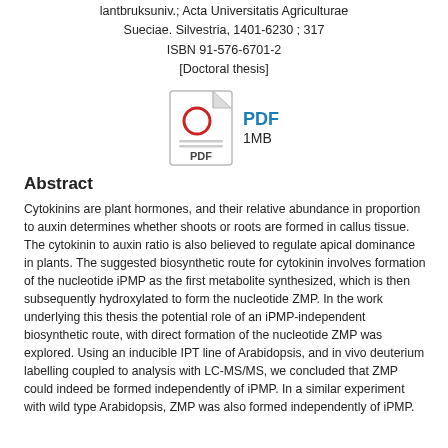lantbruksuniv.; Acta Universitatis Agriculturae Sueciae. Silvestria, 1401-6230 ; 317
ISBN 91-576-6701-2
[Doctoral thesis]
[Figure (illustration): PDF file icon with red circle and text 'PDF' at the bottom]
PDF
1MB
Abstract
Cytokinins are plant hormones, and their relative abundance in proportion to auxin determines whether shoots or roots are formed in callus tissue. The cytokinin to auxin ratio is also believed to regulate apical dominance in plants. The suggested biosynthetic route for cytokinin involves formation of the nucleotide iPMP as the first metabolite synthesized, which is then subsequently hydroxylated to form the nucleotide ZMP. In the work underlying this thesis the potential role of an iPMP-independent biosynthetic route, with direct formation of the nucleotide ZMP was explored. Using an inducible IPT line of Arabidopsis, and in vivo deuterium labelling coupled to analysis with LC-MS/MS, we concluded that ZMP could indeed be formed independently of iPMP. In a similar experiment with wild type Arabidopsis, ZMP was also formed independently of iPMP.